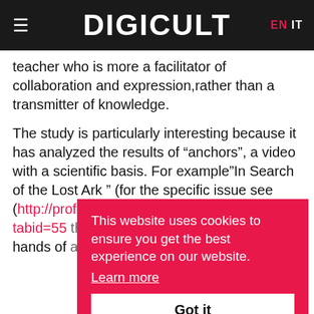DIGICULT | EN IT
teacher who is more a facilitator of collaboration and expression,rather than a transmitter of knowledge.
The study is particularly interesting because it has analyzed the results of “anchors”, a video with a scientific basis. For example”In Search of the Lost Ark ” (for the specific issue see (http://profile.educ.indiana.edu/Default.aspx?tabid=55 ... threatens ... the hands of ... an actions.
This website uses cookies to ensure you get the best experience on our website. Learn more  Got it
This kind of media has considerable potential for scientific education: the possibility of technical video is an enrichment of the learning context that